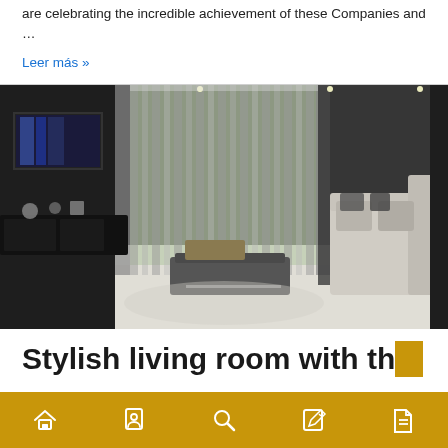are celebrating the incredible achievement of these Companies and …
Leer más »
[Figure (photo): Modern stylish living room interior with dark walls, vertical striped curtains, TV unit, sofa, and glass sliding doors looking out to greenery]
Stylish living room with th
Navigation bar with home, person, search, edit, and document icons